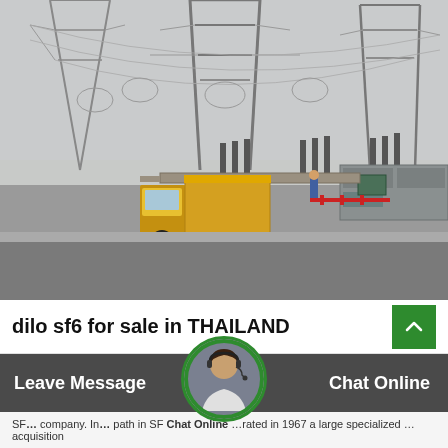[Figure (photo): Electrical substation with high-voltage transmission towers, insulators, switchgear equipment, and a yellow truck parked on a gravel road in front of the facility. Overcast sky.]
dilo sf6 for sale in THAILAND
Leave Message
Chat Online
SF... company. In... path in SF...
...rated in 1967 a large specialized ... acquisition